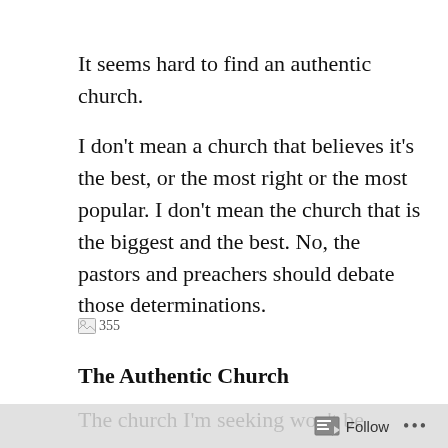It seems hard to find an authentic church.
I don't mean a church that believes it's the best, or the most right or the most popular. I don't mean the church that is the biggest and the best. No, the pastors and preachers should debate those determinations.
[Figure (illustration): Broken image placeholder showing a small broken image icon followed by the text '355']
The Authentic Church
The church I'm seeking won't be founded due to its sign, or its architecture, or by its fresh
Follow ...